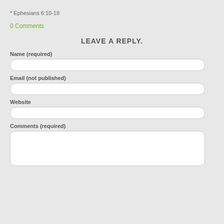* Ephesians 6:10-18
0 Comments
LEAVE A REPLY.
Name (required)
Email (not published)
Website
Comments (required)